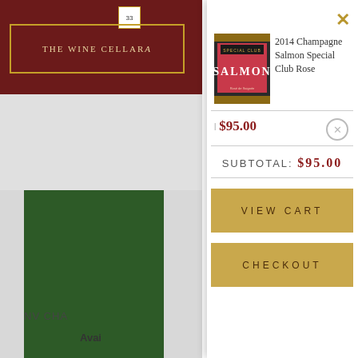[Figure (screenshot): Wine cellar website header with dark red background and gold-bordered logo reading THE WINE CELLAR A, with a calendar icon showing 33]
[Figure (photo): Green book/wine product image on left side background]
NV CHA
Avai
×
[Figure (photo): Thumbnail of Champagne Salmon Special Club Rose wine bottle label with pink/red label reading SPECIAL CLUB CHAMPAGNE SALMON]
2014 Champagne Salmon Special Club Rose
$95.00
SUBTOTAL: $95.00
VIEW CART
CHECKOUT